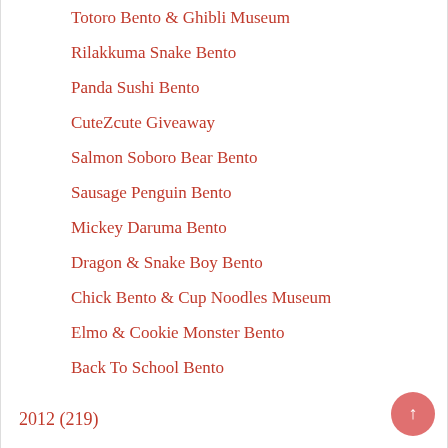Totoro Bento & Ghibli Museum
Rilakkuma Snake Bento
Panda Sushi Bento
CuteZcute Giveaway
Salmon Soboro Bear Bento
Sausage Penguin Bento
Mickey Daruma Bento
Dragon & Snake Boy Bento
Chick Bento & Cup Noodles Museum
Elmo & Cookie Monster Bento
Back To School Bento
2012 (219)